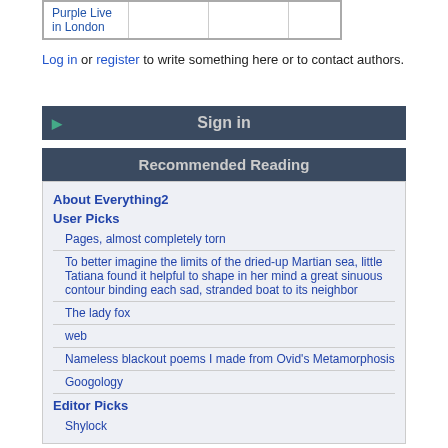| Purple Live in London |  |  |  |
Log in or register to write something here or to contact authors.
Sign in
Recommended Reading
About Everything2
User Picks
Pages, almost completely torn
To better imagine the limits of the dried-up Martian sea, little Tatiana found it helpful to shape in her mind a great sinuous contour binding each sad, stranded boat to its neighbor
The lady fox
web
Nameless blackout poems I made from Ovid's Metamorphosis
Googology
Editor Picks
Shylock